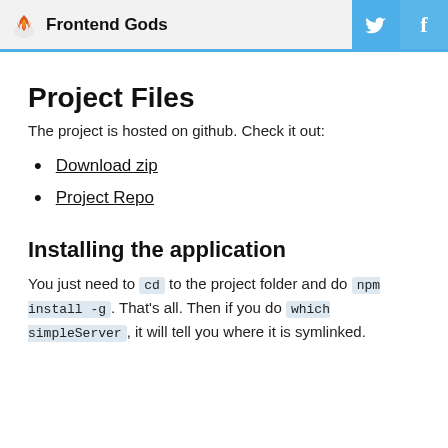Frontend Gods
Project Files
The project is hosted on github. Check it out:
Download zip
Project Repo
Installing the application
You just need to cd to the project folder and do npm install -g. That's all. Then if you do which simpleServer, it will tell you where it is symlinked.